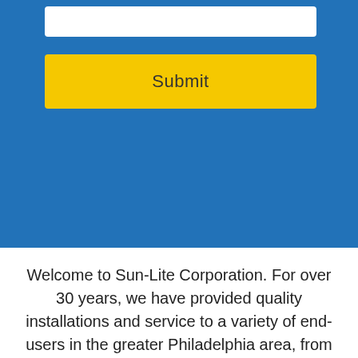[Figure (screenshot): Blue form panel with a white input bar at the top and a yellow Submit button below, set against a blue background with a faint building image overlay.]
Welcome to Sun-Lite Corporation. For over 30 years, we have provided quality installations and service to a variety of end-users in the greater Philadelphia area, from commercial property owners and engineers to interior designers and homeowners. Our key customers include the Philadelphia Museum of Art, First Union Bank, Ace Insurance, Lockheed Martin, University of Pennsylvania,